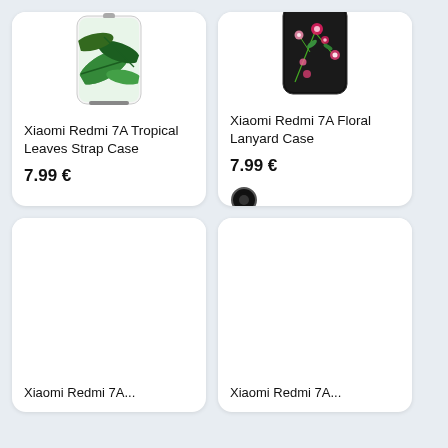[Figure (photo): Xiaomi Redmi 7A Tropical Leaves Strap Case product image - phone case with green tropical leaves pattern and strap]
Xiaomi Redmi 7A Tropical Leaves Strap Case
7.99 €
[Figure (photo): Xiaomi Redmi 7A Floral Lanyard Case product image - black phone case with pink floral pattern and lanyard]
Xiaomi Redmi 7A Floral Lanyard Case
7.99 €
[Figure (photo): Third product - partially visible, blank white image area]
Xiaomi Redmi 7A...
[Figure (photo): Fourth product - partially visible, blank white image area]
Xiaomi Redmi 7A...